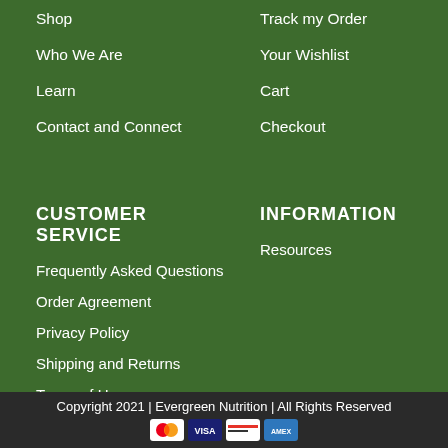Shop
Who We Are
Learn
Contact and Connect
Track my Order
Your Wishlist
Cart
Checkout
CUSTOMER SERVICE
INFORMATION
Frequently Asked Questions
Order Agreement
Privacy Policy
Shipping and Returns
Terms of Use
Resources
Copyright 2021 | Evergreen Nutrition | All Rights Reserved